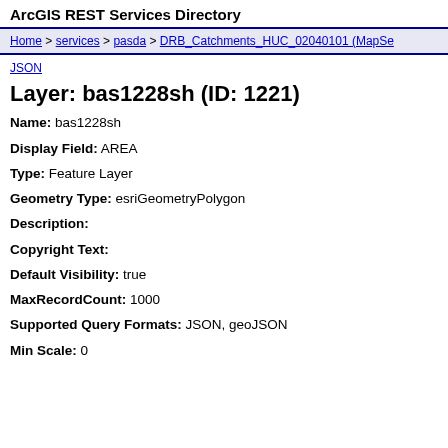ArcGIS REST Services Directory
Home > services > pasda > DRB_Catchments_HUC_02040101 (MapSe...
JSON
Layer: bas1228sh (ID: 1221)
Name: bas1228sh
Display Field: AREA
Type: Feature Layer
Geometry Type: esriGeometryPolygon
Description:
Copyright Text:
Default Visibility: true
MaxRecordCount: 1000
Supported Query Formats: JSON, geoJSON
Min Scale: 0